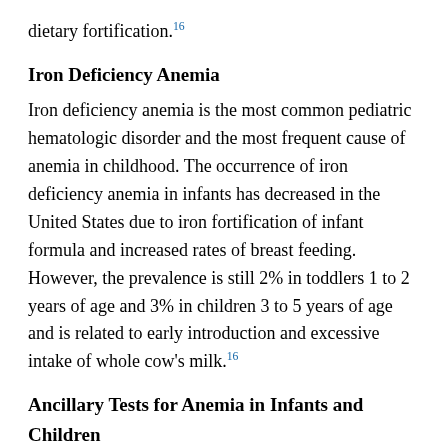dietary fortification.16
Iron Deficiency Anemia
Iron deficiency anemia is the most common pediatric hematologic disorder and the most frequent cause of anemia in childhood. The occurrence of iron deficiency anemia in infants has decreased in the United States due to iron fortification of infant formula and increased rates of breast feeding. However, the prevalence is still 2% in toddlers 1 to 2 years of age and 3% in children 3 to 5 years of age and is related to early introduction and excessive intake of whole cow's milk.16
Ancillary Tests for Anemia in Infants and Children
The differential diagnosis of anemia in infants and children relies on a variety of ancillary tests. The reference ranges for a number of these tests differ from those for adults. Haptoglobin levels are so low as to be undetectable in